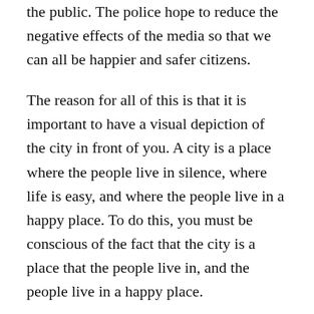the public. The police hope to reduce the negative effects of the media so that we can all be happier and safer citizens.
The reason for all of this is that it is important to have a visual depiction of the city in front of you. A city is a place where the people live in silence, where life is easy, and where the people live in a happy place. To do this, you must be conscious of the fact that the city is a place that the people live in, and the people live in a happy place.
The media is a major problem in Cleveland, so much so that they have spent the last several years developing a new, interactive media for the